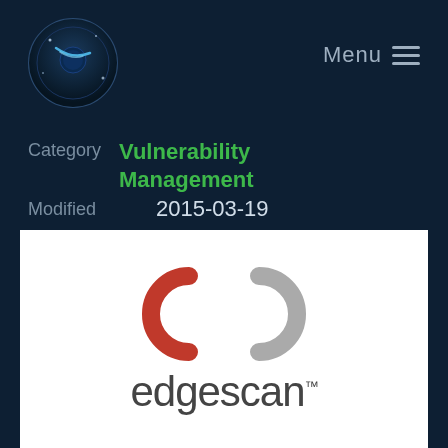[Figure (logo): Security Wizards circular logo with blue planet/comet graphic]
Menu ≡
Category  Vulnerability Management
Modified  2015-03-19
[Figure (logo): Edgescan logo: two interlocking rings (one red, one gray) above the wordmark 'edgescan™']